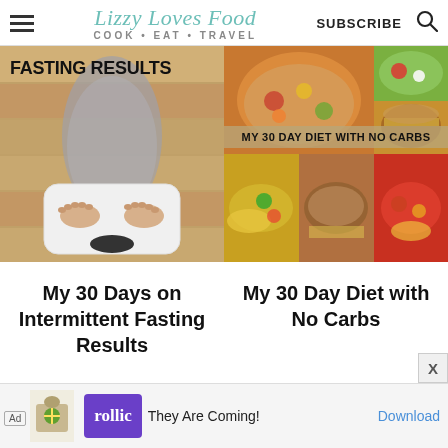Lizzy Loves Food — COOK • EAT • TRAVEL — SUBSCRIBE
[Figure (photo): Person standing on a white bathroom scale viewed from above, wooden floor. Text overlay: FASTING RESULTS]
[Figure (photo): Collage of no-carb diet food photos: vegetable soup, salad, tacos, grilled meat, stew. Text overlay: MY 30 DAY DIET WITH NO CARBS]
My 30 Days on Intermittent Fasting Results
My 30 Day Diet with No Carbs
[Figure (screenshot): Ad banner: Rollic game advertisement — They Are Coming! Download link]